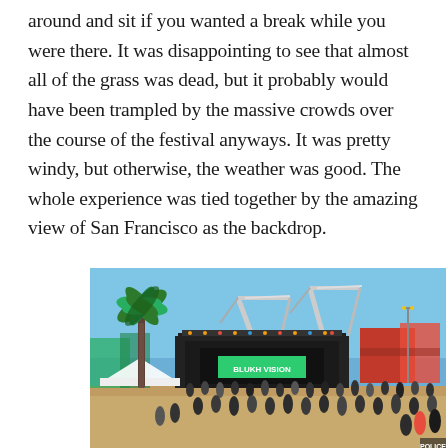around and sit if you wanted a break while you were there. It was disappointing to see that almost all of the grass was dead, but it probably would have been trampled by the massive crowds over the course of the festival anyways. It was pretty windy, but otherwise, the weather was good. The whole experience was tied together by the amazing view of San Francisco as the backdrop.
[Figure (photo): Outdoor music festival scene showing a large concert stage with a green sign reading 'BLUKH VISION', industrial port cranes in the background, a palm tree on the left, and crowds of people on a dry grass field under a clear blue sky.]